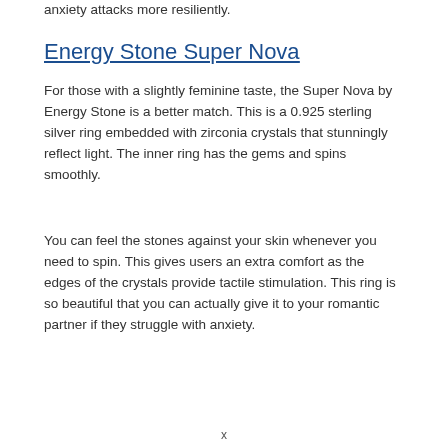anxiety attacks more resiliently.
Energy Stone Super Nova
For those with a slightly feminine taste, the Super Nova by Energy Stone is a better match. This is a 0.925 sterling silver ring embedded with zirconia crystals that stunningly reflect light. The inner ring has the gems and spins smoothly.
You can feel the stones against your skin whenever you need to spin. This gives users an extra comfort as the edges of the crystals provide tactile stimulation. This ring is so beautiful that you can actually give it to your romantic partner if they struggle with anxiety.
x